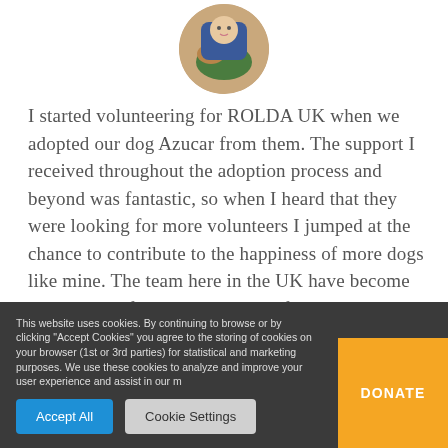[Figure (photo): Circular profile photo of a person with a dog outdoors on grass]
I started volunteering for ROLDA UK when we adopted our dog Azucar from them. The support I received throughout the adoption process and beyond was fantastic, so when I heard that they were looking for more volunteers I jumped at the chance to contribute to the happiness of more dogs like mine. The team here in the UK have become my ROLDA family and genuine friends. Volunteering is so rewarding and doesn't need to take much time away from the other priorities
This website uses cookies. By continuing to browse or by clicking "Accept Cookies" you agree to the storing of cookies on your browser (1st or 3rd parties) for statistical and marketing purposes. We use these cookies to analyze and improve your user experience and assist in our m
Accept All
Cookie Settings
DONATE